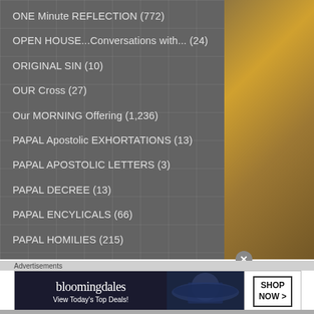ONE Minute REFLECTION (772)
OPEN HOUSE...Conversations with... (24)
ORIGINAL SIN (10)
OUR Cross (27)
Our MORNING Offering (1,236)
PAPAL Apostolic EXHORTATIONS (13)
PAPAL APOSTOLIC LETTERS (3)
PAPAL DECREE (13)
PAPAL ENCYLICALS (66)
PAPAL HOMILIES (215)
Advertisements
[Figure (screenshot): Bloomingdale's advertisement banner: 'View Today's Top Deals!' with SHOP NOW > button and a woman wearing a large brim hat]